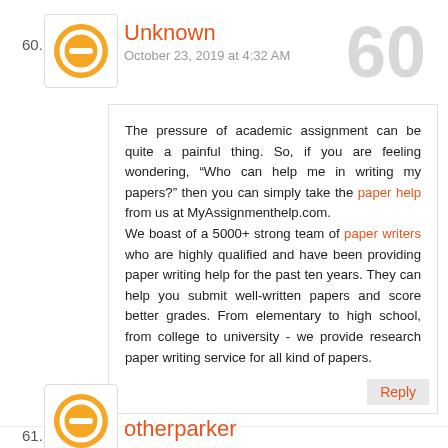60.
[Figure (logo): Blogger avatar: orange circle with white minus/dash icon inside, bordered box]
Unknown
October 23, 2019 at 4:32 AM
60
The pressure of academic assignment can be quite a painful thing. So, if you are feeling wondering, “Who can help me in writing my papers?” then you can simply take the paper help from us at MyAssignmenthelp.com.
We boast of a 5000+ strong team of paper writers who are highly qualified and have been providing paper writing help for the past ten years. They can help you submit well-written papers and score better grades. From elementary to high school, from college to university - we provide research paper writing service for all kind of papers.
Reply
61.
[Figure (logo): Blogger avatar: orange circle partially visible at bottom]
otherparker